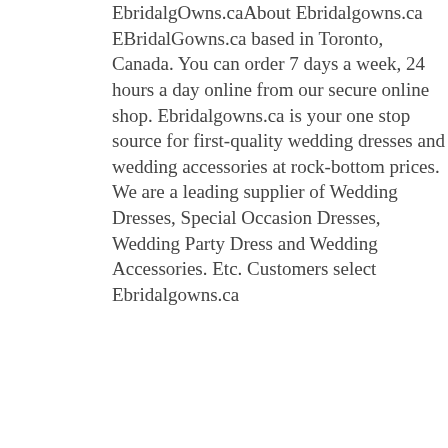EbridalgOwns.caAbout Ebridalgowns.ca EBridalGowns.ca based in Toronto, Canada. You can order 7 days a week, 24 hours a day online from our secure online shop. Ebridalgowns.ca is your one stop source for first-quality wedding dresses and wedding accessories at rock-bottom prices. We are a leading supplier of Wedding Dresses, Special Occasion Dresses, Wedding Party Dress and Wedding Accessories. Etc. Customers select Ebridalgowns.ca